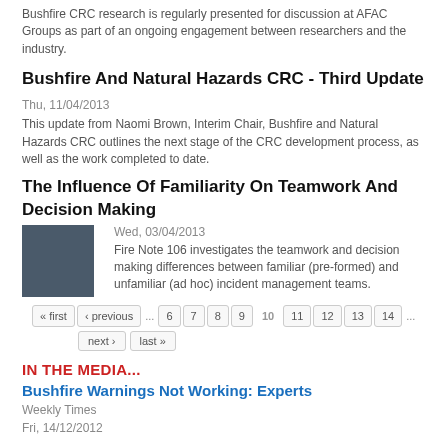Bushfire CRC research is regularly presented for discussion at AFAC Groups as part of an ongoing engagement between researchers and the industry.
Bushfire And Natural Hazards CRC - Third Update
Thu, 11/04/2013
This update from Naomi Brown, Interim Chair, Bushfire and Natural Hazards CRC outlines the next stage of the CRC development process, as well as the work completed to date.
The Influence Of Familiarity On Teamwork And Decision Making
Wed, 03/04/2013
Fire Note 106 investigates the teamwork and decision making differences between familiar (pre-formed) and unfamiliar (ad hoc) incident management teams.
« first  ‹ previous  …  6  7  8  9  10  11  12  13  14  …
next ›  last »
IN THE MEDIA...
Bushfire Warnings Not Working: Experts
Weekly Times
Fri, 14/12/2012